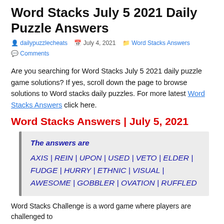Word Stacks July 5 2021 Daily Puzzle Answers
dailypuzzlecheats  July 4, 2021  Word Stacks Answers  Comments
Are you searching for Word Stacks July 5 2021 daily puzzle game solutions? If yes, scroll down the page to browse solutions to Word stacks daily puzzles. For more latest Word Stacks Answers click here.
Word Stacks Answers | July 5, 2021
The answers are
AXIS | REIN | UPON | USED | VETO | ELDER | FUDGE | HURRY | ETHNIC | VISUAL | AWESOME | GOBBLER | OVATION | RUFFLED
Word Stacks Challenge is a word game where players are challenged to